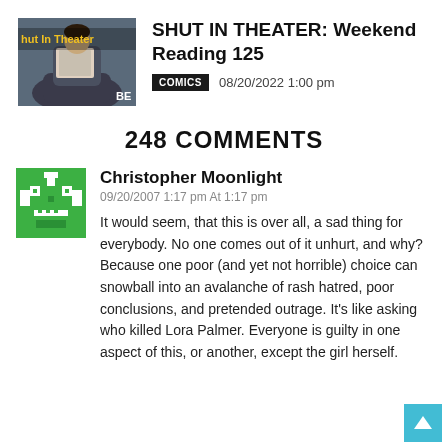[Figure (photo): Thumbnail image for 'Shut In Theater' article showing a person reading a magazine, with 'hut In Theater' text overlay in yellow and 'BE' label in corner]
SHUT IN THEATER: Weekend Reading 125
COMICS  08/20/2022 1:00 pm
248 COMMENTS
[Figure (illustration): Green pixel-art avatar icon for user Christopher Moonlight]
Christopher Moonlight
09/20/2007 1:17 pm At 1:17 pm
It would seem, that this is over all, a sad thing for everybody. No one comes out of it unhurt, and why? Because one poor (and yet not horrible) choice can snowball into an avalanche of rash hatred, poor conclusions, and pretended outrage. It's like asking who killed Lora Palmer. Everyone is guilty in one aspect of this, or another, except the girl herself.